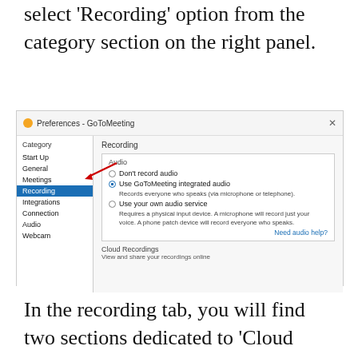select 'Recording' option from the category section on the right panel.
[Figure (screenshot): GoToMeeting Preferences dialog box showing Category list on left with Recording selected (highlighted in blue), and Recording settings panel on right showing Audio options: Don't record audio, Use GoToMeeting integrated audio (selected), Use your own audio service, plus Cloud Recordings section. A red arrow points to the Recording option in the category list.]
In the recording tab, you will find two sections dedicated to 'Cloud Recordings' and 'Local Recordings'. Click on the 'Meetings' button in the 'Cloud Recordings'